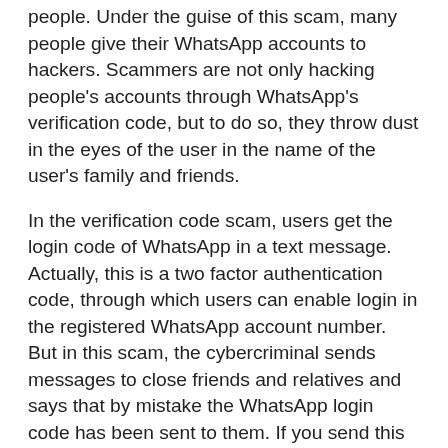people. Under the guise of this scam, many people give their WhatsApp accounts to hackers. Scammers are not only hacking people's accounts through WhatsApp's verification code, but to do so, they throw dust in the eyes of the user in the name of the user's family and friends.
In the verification code scam, users get the login code of WhatsApp in a text message. Actually, this is a two factor authentication code, through which users can enable login in the registered WhatsApp account number. But in this scam, the cybercriminal sends messages to close friends and relatives and says that by mistake the WhatsApp login code has been sent to them. If you send this code back by mistake then your account may be hacked. If you receive such a message, then under no circumstances should you reply to the message. Never share that code with anyone. Users should be aware that WhatsApp does not send the verification code to any other mobile number. The verification code is on your phone. If you send it to someone, they will control your WhatsApp account from it. If such a message is received, it means that a cybercriminal is trying to gain access to your account. As soon as you share the